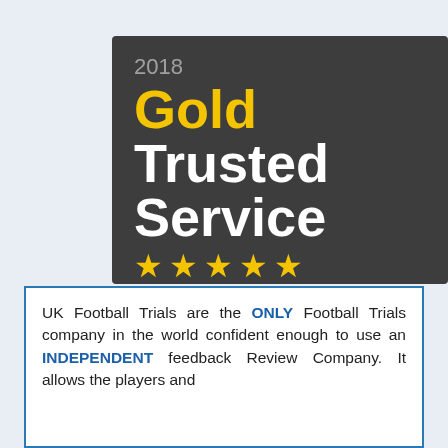[Figure (logo): Feefo 2018 Gold Trusted Service award badge. Dark grey background with '2018' in grey, 'Gold' in yellow bold, 'Trusted Service' in white bold, five yellow stars, and 'feefo' logo with yellow oval eyes.]
UK Football Trials are the ONLY Football Trials company in the world confident enough to use an INDEPENDENT feedback Review Company. It allows the players and